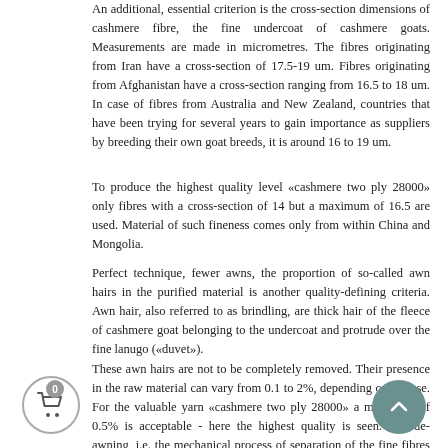An additional, essential criterion is the cross-section dimensions of cashmere fibre, the fine undercoat of cashmere goats. Measurements are made in micrometres. The fibres originating from Iran have a cross-section of 17.5-19 um. Fibres originating from Afghanistan have a cross-section ranging from 16.5 to 18 um. In case of fibres from Australia and New Zealand, countries that have been trying for several years to gain importance as suppliers by breeding their own goat breeds, it is around 16 to 19 um.
To produce the highest quality level «cashmere two ply 28000» only fibres with a cross-section of 14 but a maximum of 16.5 are used. Material of such fineness comes only from within China and Mongolia.
Perfect technique, fewer awns, the proportion of so-called awn hairs in the purified material is another quality-defining criteria. Awn hair, also referred to as brindling, are thick hair of the fleece of cashmere goat belonging to the undercoat and protrude over the fine lanugo («duvet»).
These awn hairs are not to be completely removed. Their presence in the raw material can vary from 0.1 to 2%, depending on the use. For the valuable yarn «cashmere two ply 28000» a maximum of 0.5% is acceptable - here the highest quality is seen. The de-awning, i.e. the mechanical process of separation of the fine fibres of the awn hair, is a well guarded secret of the cashmere yarn manufacturers.